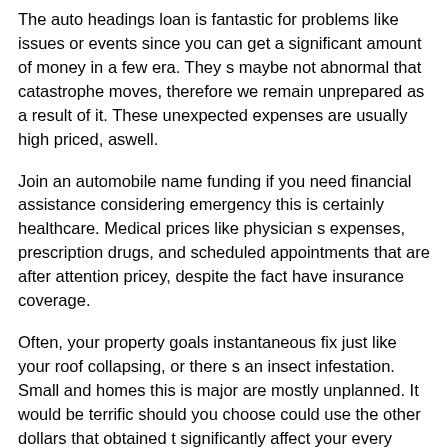The auto headings loan is fantastic for problems like issues or events since you can get a significant amount of money in a few era. They s maybe not abnormal that catastrophe moves, therefore we remain unprepared as a result of it. These unexpected expenses are usually high priced, aswell.
Join an automobile name funding if you need financial assistance considering emergency this is certainly healthcare. Medical prices like physician s expenses, prescription drugs, and scheduled appointments that are after attention pricey, despite the fact have insurance coverage.
Often, your property goals instantaneous fix just like your roof collapsing, or there s an insect infestation. Small and homes this is major are mostly unplanned. It would be terrific should you choose could use the other dollars that obtained t significantly affect your every month finances.
You put t should get an automobile concept financing utilized simply for emergency situations or cost which can be unexpected. Need a motor vehicle idea financial backing on your own person make use of the loan to experience a